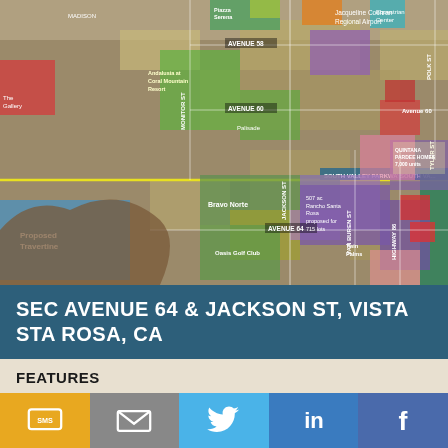[Figure (map): Aerial/satellite map showing Vista Santa Rosa area near Avenue 64 and Jackson St, CA. Includes labeled streets (South Valley Parkway, Avenue 58, Avenue 60, Avenue 64, Jackson St, Van Buren St, Highway 86, Monitor St, Polk St), colored land parcels (green, purple, teal, red, blue, pink, orange, yellow), and labeled features including Proposed Travertine, Jacqueline Cochran Regional Airport, Rancho Santa Rosa, Bravo Norte, Quinta Pardee Homes, Oasis Golf Club, Andalusia at Coral Mountain Resort, Terra Lago, Twin Palms, Equestrian Center.]
SEC AVENUE 64 & JACKSON ST, VISTA STA ROSA, CA
FEATURES
Former Equestrian Facility